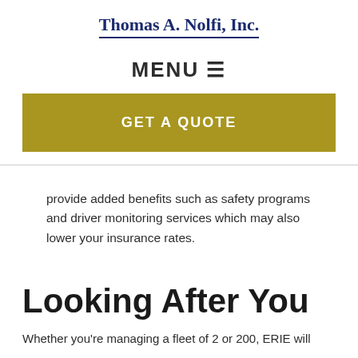Thomas A. Nolfi, Inc.
MENU ☰
GET A QUOTE
provide added benefits such as safety programs and driver monitoring services which may also lower your insurance rates.
Looking After You
Whether you're managing a fleet of 2 or 200, ERIE will